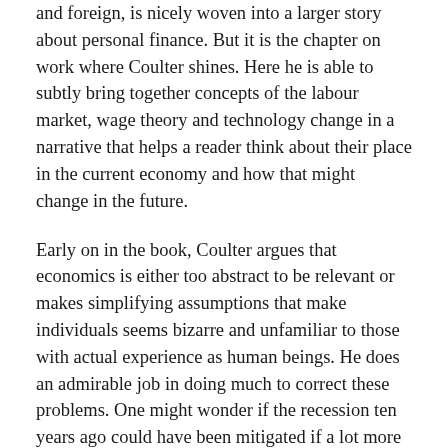and foreign, is nicely woven into a larger story about personal finance. But it is the chapter on work where Coulter shines. Here he is able to subtly bring together concepts of the labour market, wage theory and technology change in a narrative that helps a reader think about their place in the current economy and how that might change in the future.
Early on in the book, Coulter argues that economics is either too abstract to be relevant or makes simplifying assumptions that make individuals seems bizarre and unfamiliar to those with actual experience as human beings. He does an admirable job in doing much to correct these problems. One might wonder if the recession ten years ago could have been mitigated if a lot more people knew a little bit more about economics. It is not a stretch to think that improved economic literacy might do something to reduce the likelihood of a recession as significant as the last. To achieve this, it would seem that economics professionals should seek more interesting and creative approaches and present economic individuals in ways familiar to our daily